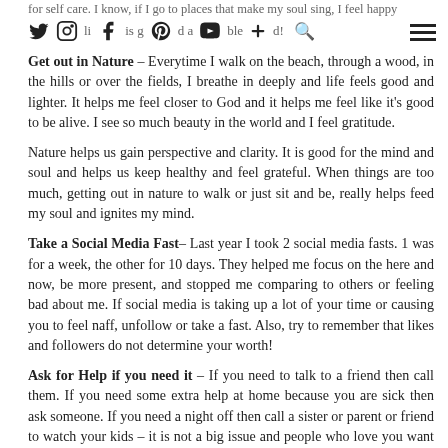for self care. I know, if I go to places that make my soul sing, I feel happy joyful and life is good and blessed!
Get out in Nature – Everytime I walk on the beach, through a wood, in the hills or over the fields, I breathe in deeply and life feels good and lighter. It helps me feel closer to God and it helps me feel like it's good to be alive. I see so much beauty in the world and I feel gratitude.
Nature helps us gain perspective and clarity. It is good for the mind and soul and helps us keep healthy and feel grateful. When things are too much, getting out in nature to walk or just sit and be, really helps feed my soul and ignites my mind.
Take a Social Media Fast– Last year I took 2 social media fasts. 1 was for a week, the other for 10 days. They helped me focus on the here and now, be more present, and stopped me comparing to others or feeling bad about me. If social media is taking up a lot of your time or causing you to feel naff, unfollow or take a fast. Also, try to remember that likes and followers do not determine your worth!
Ask for Help if you need it – If you need to talk to a friend then call them. If you need some extra help at home because you are sick then ask someone. If you need a night off then call a sister or parent or friend to watch your kids – it is not a big issue and people who love you want to help you where they can. Stop feeling like it is a failure to ask for a hand, like it is weak or feeling like you might be burdensome to others. It's okay,